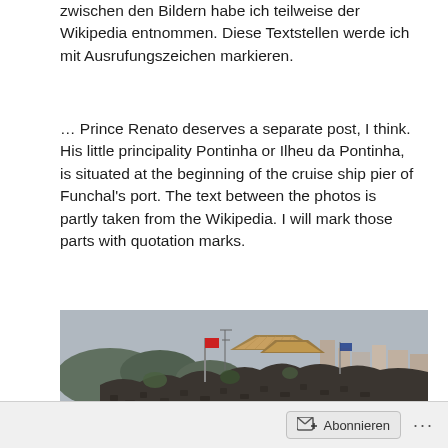zwischen den Bildern habe ich teilweise der Wikipedia entnommen. Diese Textstellen werde ich mit Ausrufungszeichen markieren.
… Prince Renato deserves a separate post, I think. His little principality Pontinha or Ilheu da Pontinha, is situated at the beginning of the cruise ship pier of Funchal's port. The text between the photos is partly taken from the Wikipedia. I will mark those parts with quotation marks.
[Figure (photo): Photo of a rocky stone fortification wall with thatched-roof huts on top, flags visible, and a city/harbor visible in the background under an overcast sky.]
Abonnieren ...